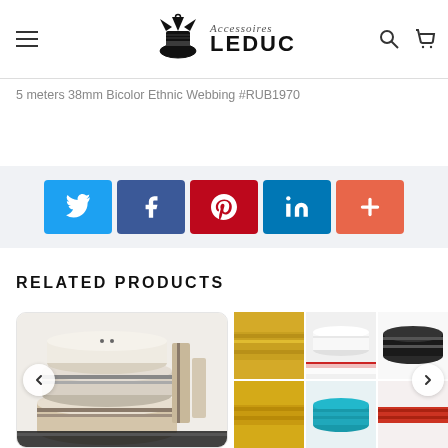Accessoires LEDUC
5 meters 38mm Bicolor Ethnic Webbing #RUB1970
[Figure (infographic): Social share buttons: Twitter, Facebook, Pinterest, LinkedIn, More (+)]
RELATED PRODUCTS
[Figure (photo): Product photo: stacked spools of woven ribbon/webbing in neutral tones with stripe details]
[Figure (photo): Grid of product thumbnails: yellow, white, black, red webbing rolls and spools in various colors]